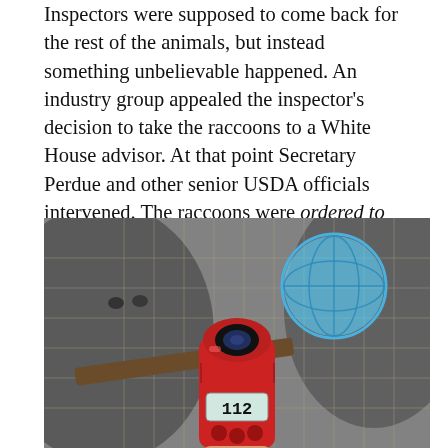Inspectors were supposed to come back for the rest of the animals, but instead something unbelievable happened. An industry group appealed the inspector's decision to take the raccoons to a White House advisor. At that point Secretary Perdue and other senior USDA officials intervened. The raccoons were ordered to be returned to the farm, and the additional seizure of animals was halted.
[Figure (photo): A photograph showing a red handheld device (appears to be a measuring instrument with a digital display reading '112') held in front of a wire mesh cage containing a raccoon. A blue circular object (possibly a ball or water dish) is visible in the background through the mesh.]